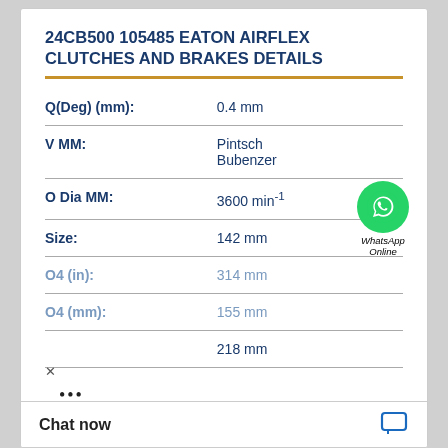24CB500 105485 EATON AIRFLEX CLUTCHES AND BRAKES DETAILS
| Property | Value |
| --- | --- |
| Q(Deg) (mm): | 0.4 mm |
| V MM: | Pintsch Bubenzer |
| O Dia MM: | 3600 min-1 |
| Size: | 142 mm |
| O4 (in): | 314 mm |
| O4 (mm): | 155 mm |
|  | 218 mm |
[Figure (logo): WhatsApp Online green circle icon with phone handset, labeled WhatsApp Online]
Chat now